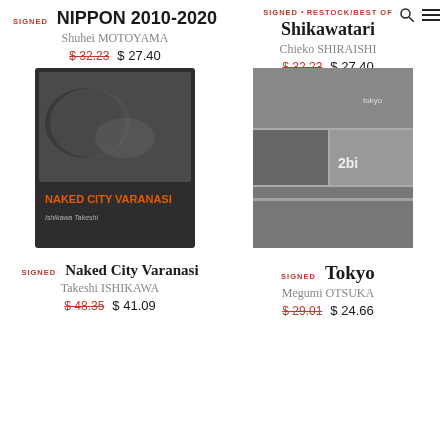SIGNED NIPPON 2010-2020 | Shuhei MOTOYAMA | $32.23 $27.40
SIGNED • RESTOCK/BEST OF | Shikawatari | Chieko SHIRAISHI | $32.23 $27.40
[Figure (photo): Book cover of Naked City Varanasi by Ishikawa Takeshi — dark cover with black-and-white photo of reclining figure, orange title text]
[Figure (photo): Book cover of Tokyo by Megumi Otsuka — black-and-white street photography collage cover]
SIGNED Naked City Varanasi | Takeshi ISHIKAWA | $48.35 $41.09
SIGNED Tokyo | Megumi OTSUKA | $29.01 $24.66